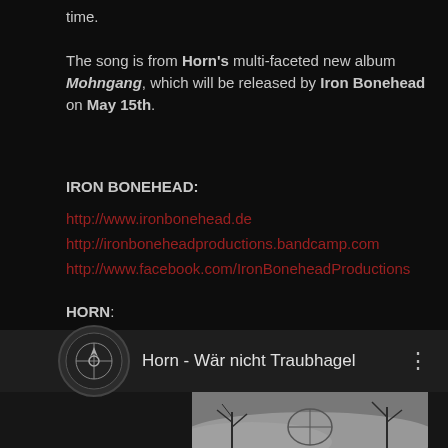time.
The song is from Horn's multi-faceted new album Mohngang, which will be released by Iron Bonehead on May 15th.
IRON BONEHEAD:
http://www.ironbonehead.de
http://ironboneheadproductions.bandcamp.com
http://www.facebook.com/IronBoneheadProductions
HORN:
http://www.facebook.com/HornOfficial
http://hornlichterlischt.bandcamp.com
[Figure (screenshot): Media player showing 'Horn - Wär nicht Traubhagel' with a circular logo/thumbnail and album art image below]